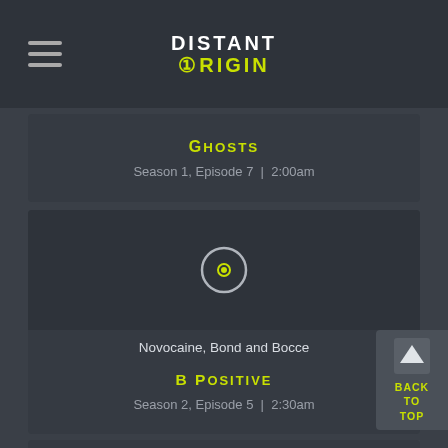DISTANT ORIGIN
GHOSTS
Season 1, Episode 7  |  2:00am
[Figure (screenshot): Video thumbnail with circular play button (ring with yellow dot center) for episode Novocaine, Bond and Bocce]
Novocaine, Bond and Bocce
B POSITIVE
Season 2, Episode 5  |  2:30am